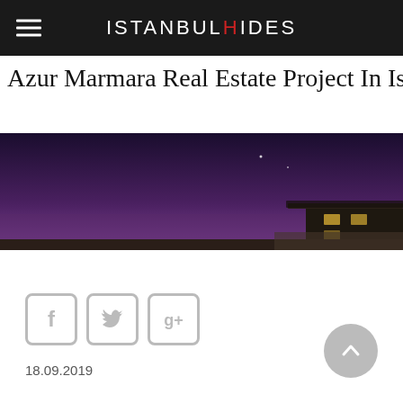ISTANBULHIDES
Azur Marmara Real Estate Project In Istanbul
[Figure (photo): Night/dusk photo of a modern building roofline against a dark purple sky]
[Figure (infographic): Social media share icons: Facebook, Twitter, Google+]
18.09.2019